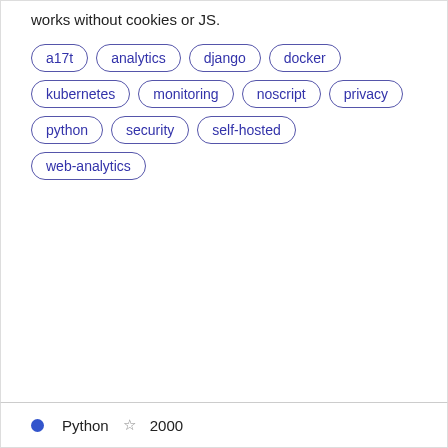works without cookies or JS.
a17t
analytics
django
docker
kubernetes
monitoring
noscript
privacy
python
security
self-hosted
web-analytics
Python ☆ 2000